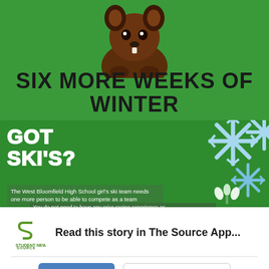[Figure (illustration): Green banner with a cartoon groundhog peeking from the top, brown body with claws, and large bold text reading 'SIX MORE WEEKS OF WINTER']
[Figure (infographic): Green banner with 'GOT SKI'S?' in large white outlined letters, snowflake decorations on right side, and text about West Bloomfield High School girl's ski team needing one more member]
Read this story in The Source App...
Open App
Continue in browser